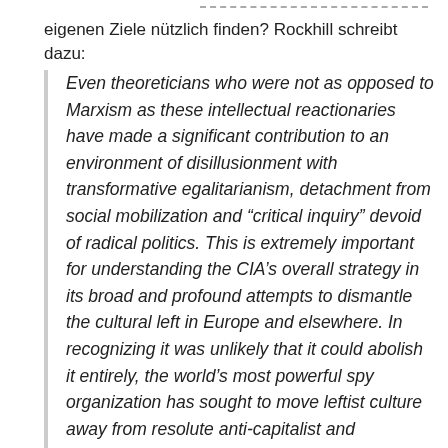eigenen Ziele nützlich finden? Rockhill schreibt dazu:
Even theoreticians who were not as opposed to Marxism as these intellectual reactionaries have made a significant contribution to an environment of disillusionment with transformative egalitarianism, detachment from social mobilization and “critical inquiry” devoid of radical politics. This is extremely important for understanding the CIA’s overall strategy in its broad and profound attempts to dismantle the cultural left in Europe and elsewhere. In recognizing it was unlikely that it could abolish it entirely, the world’s most powerful spy organization has sought to move leftist culture away from resolute anti-capitalist and transformative politics toward center-left